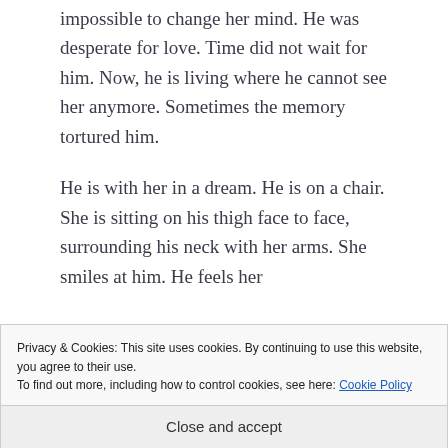impossible to change her mind. He was desperate for love. Time did not wait for him. Now, he is living where he cannot see her anymore. Sometimes the memory tortured him.
He is with her in a dream. He is on a chair. She is sitting on his thigh face to face, surrounding his neck with her arms. She smiles at him. He feels her
Privacy & Cookies: This site uses cookies. By continuing to use this website, you agree to their use. To find out more, including how to control cookies, see here: Cookie Policy
Close and accept